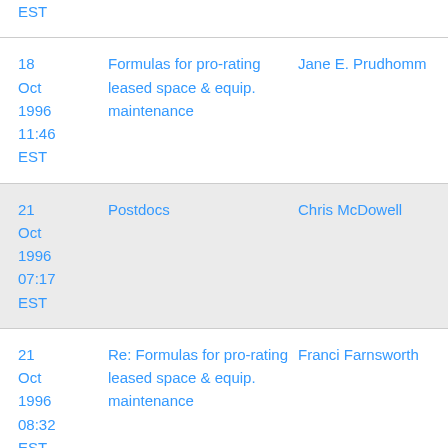| Date | Subject | Author |
| --- | --- | --- |
| 18 Oct 1996 11:46 EST | Formulas for pro-rating leased space & equip. maintenance | Jane E. Prudhomme |
| 21 Oct 1996 07:17 EST | Postdocs | Chris McDowell |
| 21 Oct 1996 08:32 EST | Re: Formulas for pro-rating leased space & equip. maintenance | Franci Farnsworth |